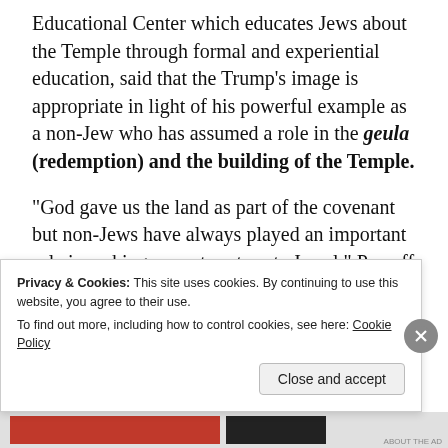Educational Center which educates Jews about the Temple through formal and experiential education, said that the Trump's image is appropriate in light of his powerful example as a non-Jew who has assumed a role in the geula (redemption) and the building of the Temple.
“God gave us the land as part of the covenant but non-Jews have always played an important role in waking us up to return to Israel,” Persoff told Breaking Israel News.
Privacy & Cookies: This site uses cookies. By continuing to use this website, you agree to their use. To find out more, including how to control cookies, see here: Cookie Policy